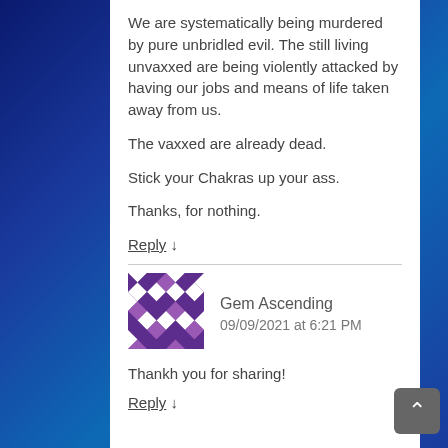We are systematically being murdered by pure unbridled evil. The still living unvaxxed are being violently attacked by having our jobs and means of life taken away from us.

The vaxxed are already dead.

Stick your Chakras up your ass.

Thanks, for nothing.
Reply ↓
[Figure (illustration): Purple and white geometric/diamond pattern avatar icon for user Gem Ascending]
Gem Ascending
09/09/2021 at 6:21 PM
Thankh you for sharing!
Reply ↓